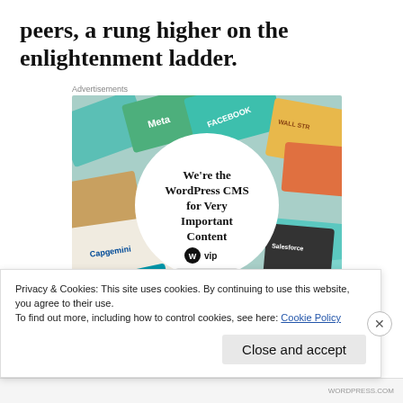peers, a rung higher on the enlightenment ladder.
Advertisements
[Figure (other): WordPress VIP advertisement showing colorful company logo cards in the background with a white circle in the center containing the text 'We're the WordPress CMS for Very Important Content' with a WP VIP logo and 'Learn more' button]
Privacy & Cookies: This site uses cookies. By continuing to use this website, you agree to their use.
To find out more, including how to control cookies, see here: Cookie Policy
Close and accept
WORDPRESS.COM